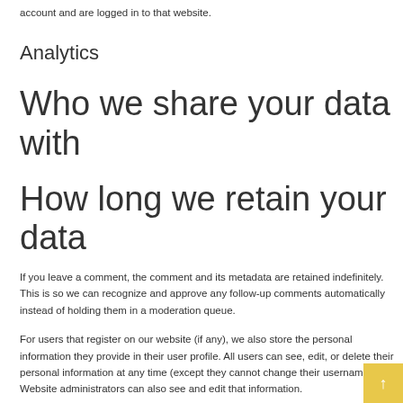account and are logged in to that website.
Analytics
Who we share your data with
How long we retain your data
If you leave a comment, the comment and its metadata are retained indefinitely. This is so we can recognize and approve any follow-up comments automatically instead of holding them in a moderation queue.
For users that register on our website (if any), we also store the personal information they provide in their user profile. All users can see, edit, or delete their personal information at any time (except they cannot change their username). Website administrators can also see and edit that information.